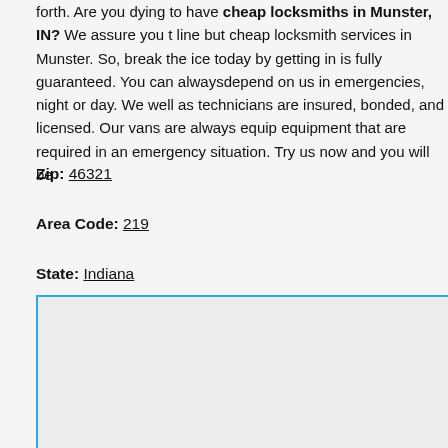forth. Are you dying to have cheap locksmiths in Munster, IN? We assure you that not only do we draw the line but cheap locksmith services in Munster. So, break the ice today by getting in touch with us. Our work is fully guaranteed. You can alwaysdepend on us in emergencies, night or day. We our company as well as technicians are insured, bonded, and licensed. Our vans are always equipped with all the necessary equipment that are required in an emergency situation. Try us now and you will be
Zip: 46321
Area Code: 219
State: Indiana
[Figure (map): Embedded map placeholder with cyan/light-blue border, light grey background]